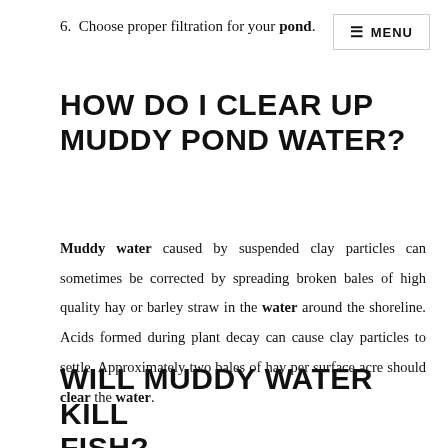6.  Choose proper filtration for your pond.
HOW DO I CLEAR UP MUDDY POND WATER?
Muddy water caused by suspended clay particles can sometimes be corrected by spreading broken bales of high quality hay or barley straw in the water around the shoreline. Acids formed during plant decay can cause clay particles to settle. Approximately two bales of hay per surface acre should clear the water.
WILL MUDDY WATER KILL FISH?